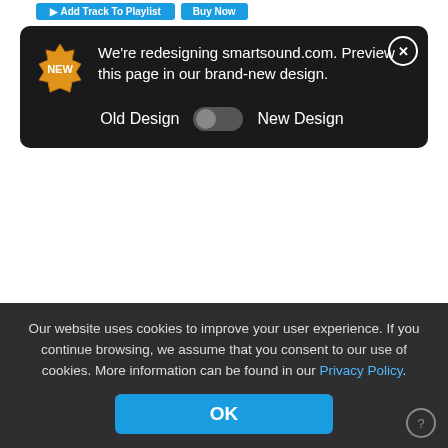[Figure (screenshot): Top navigation bar with 'Add Track To Playlist' and 'Buy Now' buttons in blue]
We're redesigning smartsound.com. Preview this page in our brand-new design.
Old Design  New Design (toggle)
[Figure (other): Play button circle with triangle/play icon]
Genre: Rock  Classic Rock  Pop Rock  Indie
Customize Track  More Information
$49.95
Our website uses cookies to improve your user experience. If you continue browsing, we assume that you consent to our use of cookies. More information can be found in our Privacy Policy.
OK